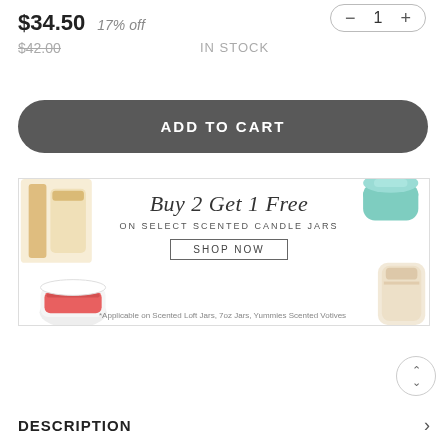$34.50  17% off
- 1 +
$42.00
IN STOCK
ADD TO CART
[Figure (infographic): Promotional banner: 'Buy 2 Get 1 Free ON SELECT SCENTED CANDLE JARS' with SHOP NOW button and footnote '*Applicable on Scented Loft Jars, 7oz Jars, Yummies Scented Votives'. Decorated with product images on left and right sides.]
DESCRIPTION  >